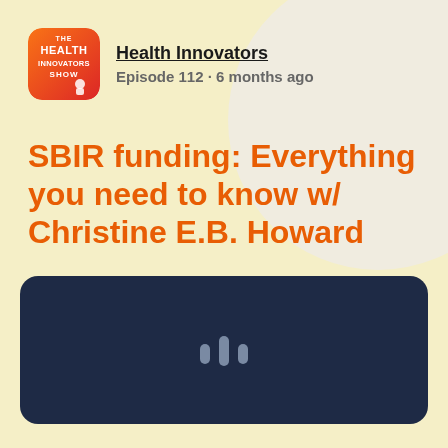[Figure (logo): The Health Innovators Show podcast logo — orange gradient square with rounded corners showing 'THE HEALTH INNOVATORS SHOW' text in white]
Health Innovators
Episode 112 · 6 months ago
SBIR funding: Everything you need to know w/ Christine E.B. Howard
[Figure (screenshot): Dark navy podcast player card with a waveform/podcast icon in light blue-grey in the center]